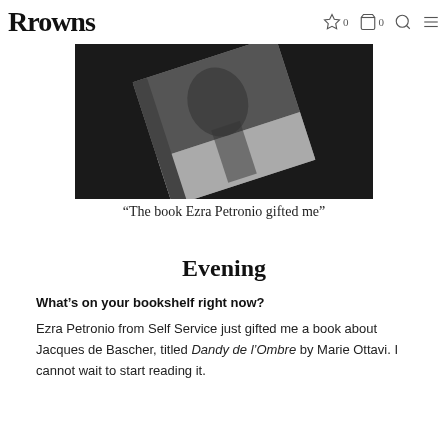Rrowns  ☆ 0  🛍 0  🔍  ☰
[Figure (photo): Black and white photo of a book tilted at an angle against a dark background, showing the cover partially.]
“The book Ezra Petronio gifted me”
Evening
What’s on your bookshelf right now?
Ezra Petronio from Self Service just gifted me a book about Jacques de Bascher, titled Dandy de l’Ombre by Marie Ottavi. I cannot wait to start reading it.